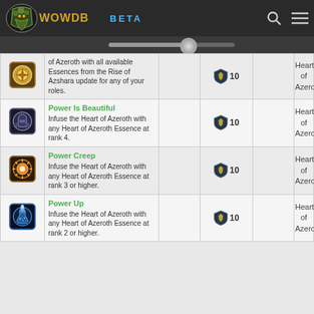WOWDB BETA
| Icon | Description |  | Points |  | Category |
| --- | --- | --- | --- | --- | --- |
| [icon] | of Azeroth with all available Essences from the Rise of Azshara update for any of your roles. |  | 10 |  | Heart of Azeroth |
| [icon] | Power Is Beautiful
Infuse the Heart of Azeroth with any Heart of Azeroth Essence at rank 4. |  | 10 |  | Heart of Azeroth |
| [icon] | Power Creep
Infuse the Heart of Azeroth with any Heart of Azeroth Essence at rank 3 or higher. |  | 10 |  | Heart of Azeroth |
| [icon] | Power Up
Infuse the Heart of Azeroth with any Heart of Azeroth Essence at rank 2 or higher. |  | 10 |  | Heart of Azeroth |